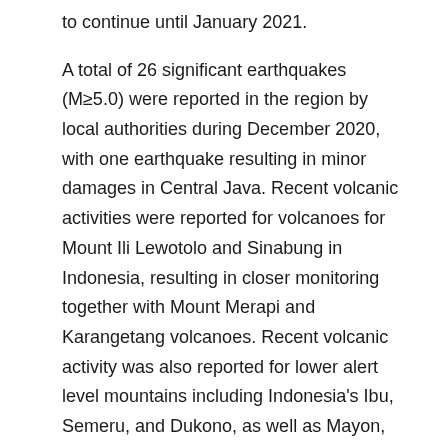to continue until January 2021.
A total of 26 significant earthquakes (M≥5.0) were reported in the region by local authorities during December 2020, with one earthquake resulting in minor damages in Central Java. Recent volcanic activities were reported for volcanoes for Mount Ili Lewotolo and Sinabung in Indonesia, resulting in closer monitoring together with Mount Merapi and Karangetang volcanoes. Recent volcanic activity was also reported for lower alert level mountains including Indonesia's Ibu, Semeru, and Dukono, as well as Mayon, Taal, Bulusan, and Kanlaon in the Philippines, but there were limited impacts and damage as a result.